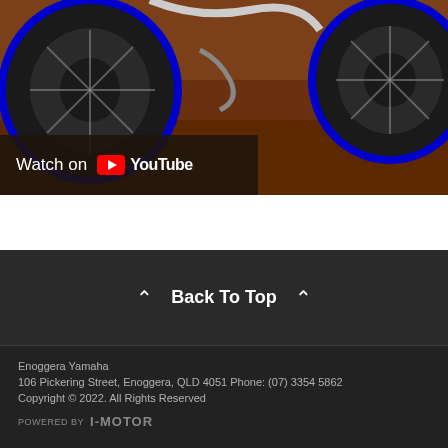[Figure (photo): Motocross dirt bike with blue wheels on red dirt/mud ground, with a Yamaha branded pit stand in the background. A YouTube overlay bar shows 'Watch on YouTube' at the bottom left of the image.]
^ Back To Top ^
Enoggera Yamaha
106 Pickering Street, Enoggera, QLD 4051 Phone: (07) 3354 5862
Copyright © 2022. All Rights Reserved
POWERED BY  I-MOTOR